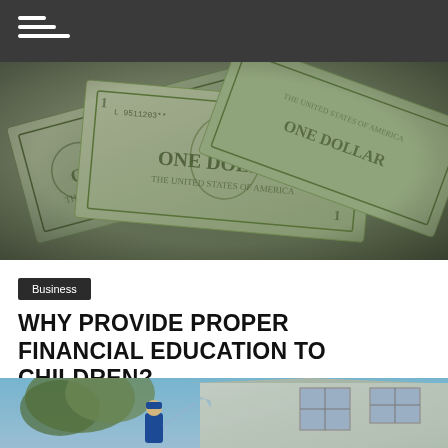[Figure (photo): Close-up photograph of US dollar bills fanned out, showing One Dollar bills with serial numbers and Treasury seal visible]
Business
WHY PROVIDE PROPER FINANCIAL EDUCATION TO CHILDREN?
[Figure (photo): Person in blue uniform pressure washing the exterior of a white two-story house with trees in the background]